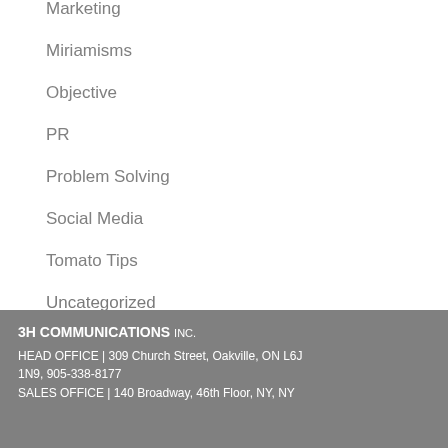Marketing
Miriamisms
Objective
PR
Problem Solving
Social Media
Tomato Tips
Uncategorized
3H COMMUNICATIONS INC.
HEAD OFFICE | 309 Church Street, Oakville, ON L6J 1N9, 905-338-8177
SALES OFFICE | 140 Broadway, 46th Floor, NY, NY 10005, 416-720-8648